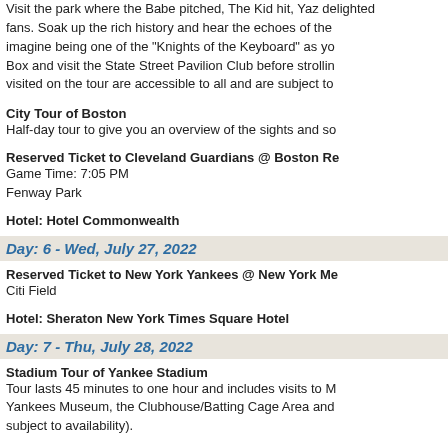Visit the park where the Babe pitched, The Kid hit, Yaz delighted fans. Soak up the rich history and hear the echoes of the crowd, imagine being one of the "Knights of the Keyboard" as you visit the Press Box and visit the State Street Pavilion Club before strolling the field. All areas visited on the tour are accessible to all and are subject to
City Tour of Boston
Half-day tour to give you an overview of the sights and so
Reserved Ticket to Cleveland Guardians @ Boston Re
Game Time: 7:05 PM
Fenway Park
Hotel: Hotel Commonwealth
Day: 6 - Wed, July 27, 2022
Reserved Ticket to New York Yankees @ New York Me
Citi Field
Hotel: Sheraton New York Times Square Hotel
Day: 7 - Thu, July 28, 2022
Stadium Tour of Yankee Stadium
Tour lasts 45 minutes to one hour and includes visits to M Yankees Museum, the Clubhouse/Batting Cage Area and subject to availability).
City Tour of New York City
Half-day tour to give you an overview of the sights and so Memorial.
Reserved Ticket to Kansas City Royals @ New York Y
Game Time: 7:05 PM
Yankee Stadium